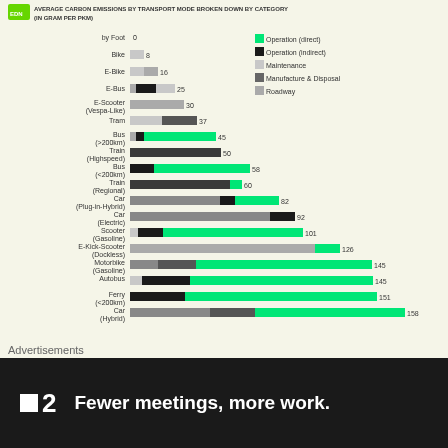AVERAGE CARBON EMISSIONS BY TRANSPORT MODE BROKEN DOWN BY CATEGORY (IN GRAM PER PKM)
[Figure (stacked-bar-chart): Average Carbon Emissions by Transport Mode Broken Down by Category (in gram per pkm)]
Advertisements
[Figure (other): Advertisement: Fewer meetings, more work. (logo with square icon and number 2)]